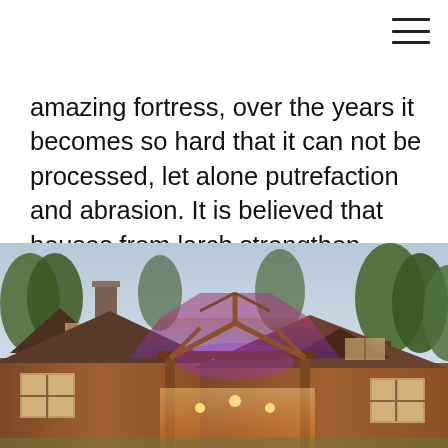amazing fortress, over the years it becomes so hard that it can not be processed, let alone putrefaction and abrasion. It is believed that houses from larch strengthen human health, its strength, and prolong life.
[Figure (photo): Exterior photo of a large wooden house with a prominent timber-frame covered entry porch illuminated with warm and purple lights, dormers, a stone chimney, and trees in the background at dusk.]